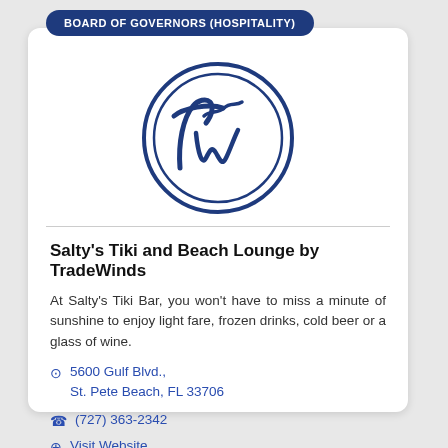BOARD OF GOVERNORS (HOSPITALITY)
[Figure (logo): TradeWinds circular logo with stylized 'Tw' script lettering inside a double circle, in dark navy blue]
Salty's Tiki and Beach Lounge by TradeWinds
At Salty's Tiki Bar, you won't have to miss a minute of sunshine to enjoy light fare, frozen drinks, cold beer or a glass of wine.
5600 Gulf Blvd., St. Pete Beach, FL 33706
(727) 363-2342
Visit Website
Accessibility